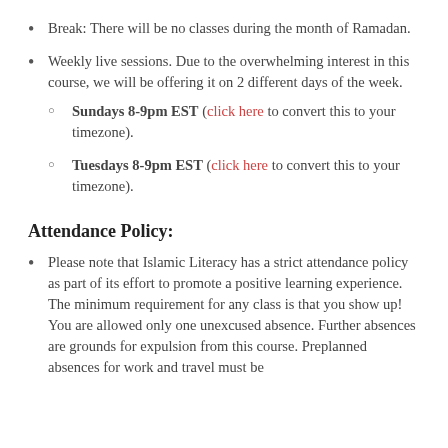Break: There will be no classes during the month of Ramadan.
Weekly live sessions. Due to the overwhelming interest in this course, we will be offering it on 2 different days of the week.
Sundays 8-9pm EST (click here to convert this to your timezone).
Tuesdays 8-9pm EST (click here to convert this to your timezone).
Attendance Policy:
Please note that Islamic Literacy has a strict attendance policy as part of its effort to promote a positive learning experience. The minimum requirement for any class is that you show up! You are allowed only one unexcused absence. Further absences are grounds for expulsion from this course. Preplanned absences for work and travel must be